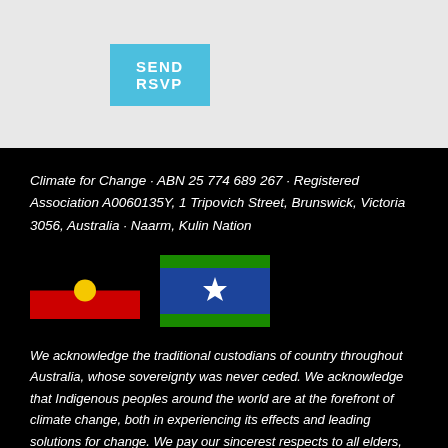SEND RSVP
Climate for Change · ABN 25 774 689 267 · Registered Association A0060135Y, 1 Tripovich Street, Brunswick, Victoria 3056, Australia · Naarm, Kulin Nation
[Figure (illustration): Australian Aboriginal flag (black top half, red bottom half, yellow circle) and Torres Strait Islander flag (blue with green stripes and white symbol)]
We acknowledge the traditional custodians of country throughout Australia, whose sovereignty was never ceded. We acknowledge that Indigenous peoples around the world are at the forefront of climate change, both in experiencing its effects and leading solutions for change. We pay our sincerest respects to all elders, past and present.